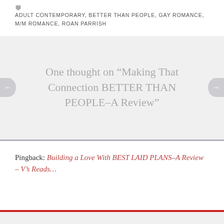ADULT CONTEMPORARY, BETTER THAN PEOPLE, GAY ROMANCE, M/M ROMANCE, ROAN PARRISH
One thought on “Making That Connection BETTER THAN PEOPLE–A Review”
Pingback: Building a Love With BEST LAID PLANS–A Review – V’s Reads…